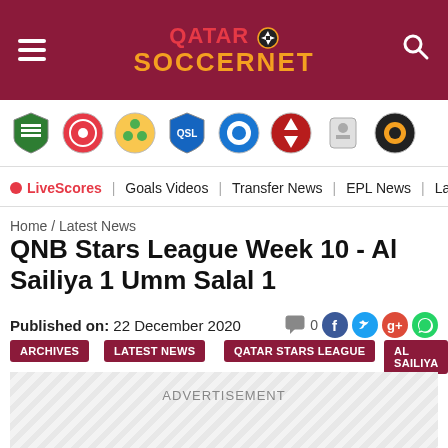[Figure (logo): Qatar Soccernet website header with hamburger menu, logo (QATAR SOCCERNET with soccer ball), and search icon on dark red background]
[Figure (infographic): Strip of 8 football club logos/crests on white background]
LiveScores | Goals Videos | Transfer News | EPL News | La Liga News |
Home / Latest News
QNB Stars League Week 10 - Al Sailiya 1 Umm Salal 1
Published on: 22 December 2020
ARCHIVES
LATEST NEWS
QATAR STARS LEAGUE
AL SAILIYA
ADVERTISEMENT